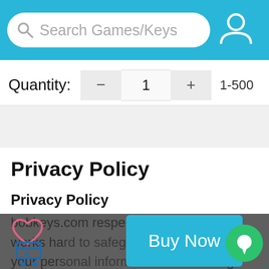Search Games/Keys
Quantity: - 1 + 1-500
Privacy Policy
Privacy Policy
bobkeys.com respects your privacy and works hard to safeguard the privacy of your personal information. the exciting growth of the Internet and services raise questions concerning the
[Figure (screenshot): Buy Now button overlay with heart icon, cart icon, and chat bubble on dark overlay background]